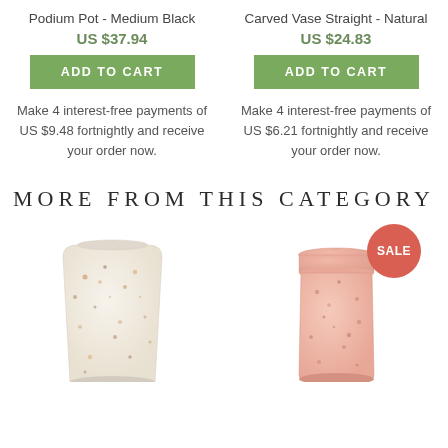Podium Pot - Medium Black
US $37.94
ADD TO CART
Make 4 interest-free payments of US $9.48 fortnightly and receive your order now.
Carved Vase Straight - Natural
US $24.83
ADD TO CART
Make 4 interest-free payments of US $6.21 fortnightly and receive your order now.
MORE FROM THIS CATEGORY
[Figure (photo): Speckled white/cream ceramic cup or planter, tapered cylindrical shape with gold-flecked terrazzo texture]
[Figure (photo): Pale pink speckled ceramic jar with lid, cylindrical shape with gold flecks, SALE badge shown in red circle]